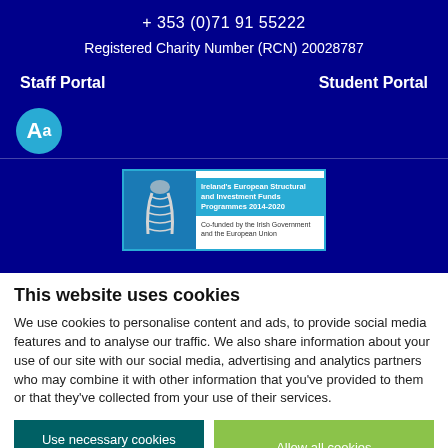+ 353 (0)71 91 55222
Registered Charity Number (RCN) 20028787
Staff Portal
Student Portal
[Figure (logo): Aa accessibility text-size icon in a teal circle]
[Figure (logo): Ireland's European Structural and Investment Funds Programmes 2014-2020, Co-funded by the Irish Government and the European Union badge with harp logo]
This website uses cookies
We use cookies to personalise content and ads, to provide social media features and to analyse our traffic. We also share information about your use of our site with our social media, advertising and analytics partners who may combine it with other information that you've provided to them or that they've collected from your use of their services.
Use necessary cookies only
Allow all cookies
Show details